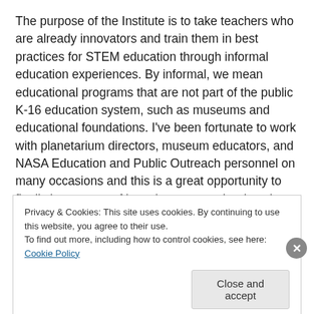The purpose of the Institute is to take teachers who are already innovators and train them in best practices for STEM education through informal education experiences. By informal, we mean educational programs that are not part of the public K-16 education system, such as museums and educational foundations. I've been fortunate to work with planetarium directors, museum educators, and NASA Education and Public Outreach personnel on many occasions and this is a great opportunity to finally learn more of how they approach education through
Privacy & Cookies: This site uses cookies. By continuing to use this website, you agree to their use.
To find out more, including how to control cookies, see here: Cookie Policy
Close and accept